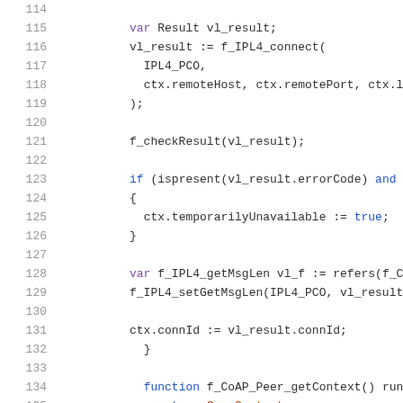Code listing lines 114-135, TTCN-3 source code snippet
[Figure (screenshot): Source code listing showing TTCN-3 code with line numbers 114-135. Code includes variable declarations, function calls f_IPL4_connect, f_checkResult, if condition with ispresent, ctx.temporarilyUnavailable assignment, f_IPL4_getMsgLen, f_IPL4_setGetMsgLen, ctx.connId assignment, closing brace, and function f_CoAP_Peer_getContext declaration with return statement.]